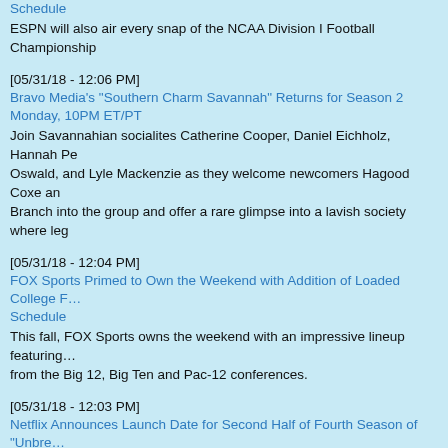Schedule
ESPN will also air every snap of the NCAA Division I Football Championship
[05/31/18 - 12:06 PM]
Bravo Media's "Southern Charm Savannah" Returns for Season 2 Monday, 10PM ET/PT
Join Savannahian socialites Catherine Cooper, Daniel Eichholz, Hannah Pe... Oswald, and Lyle Mackenzie as they welcome newcomers Hagood Coxe an... Branch into the group and offer a rare glimpse into a lavish society where leg...
[05/31/18 - 12:04 PM]
FOX Sports Primed to Own the Weekend with Addition of Loaded College F... Schedule
This fall, FOX Sports owns the weekend with an impressive lineup featuring... from the Big 12, Big Ten and Pac-12 conferences.
[05/31/18 - 12:03 PM]
Netflix Announces Launch Date for Second Half of Fourth Season of "Unbre... Schmidt"
The streaming service will bow the remaining six episodes of the fourth seas... January 25, 2019.
[05/31/18 - 12:03 PM]
Season Two of "Get Shorty" Premieres Sunday, August 12 on EPIX(R)
Joining the cast as a recurring guest star is Raymond Cruz, who will play Sw... brutal and murderous leader of a Latino prison gang who styles himself after... Swayze, with long, flowing locks of hair and 80s-inspired dance moves.
[05/31/18 - 11:27 AM]